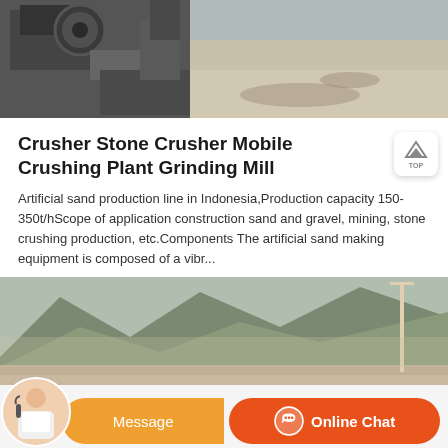[Figure (photo): Industrial stone crusher / mining machinery equipment at a construction site, with heavy grey machinery on the left and sandy/dusty ground visible in background]
Crusher Stone Crusher Mobile Crushing Plant Grinding Mill
Artificial sand production line in Indonesia,Production capacity 150-350t/hScope of application construction sand and gravel, mining, stone crushing production, etc.Components The artificial sand making equipment is composed of a vibr...
[Figure (photo): Quarry or mining site with rocky hillside terrain, dusty landscape, and construction infrastructure visible]
[Figure (photo): Customer service representative (woman with headset) with orange Message and Online Chat buttons at the bottom of the screen]